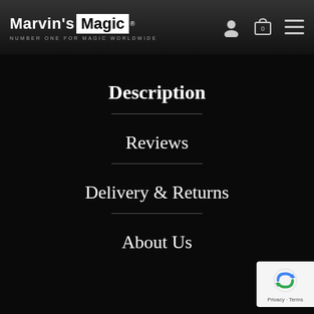Marvin's Magic — NUMBER ONE FOR MAGIC WORLDWIDE
Description
Reviews
Delivery & Returns
About Us